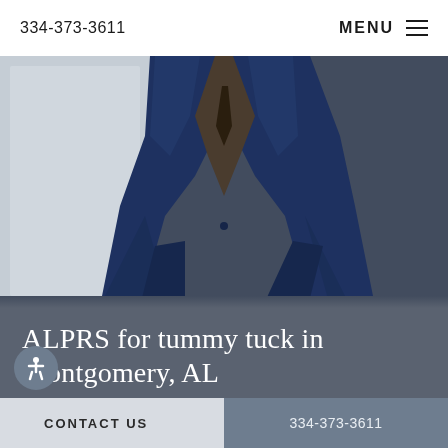334-373-3611    MENU
[Figure (photo): Photo of a person in a navy blue suit jacket, torso visible, hands at sides, against a light grey background]
ALPRS for tummy tuck in Montgomery, AL
Alabama Plastic and Reconstructive Surgery's exceptional body plastic surgeon, Dr. John Bauer, is a board-certified surgeon with over 20 years of
CONTACT US    334-373-3611